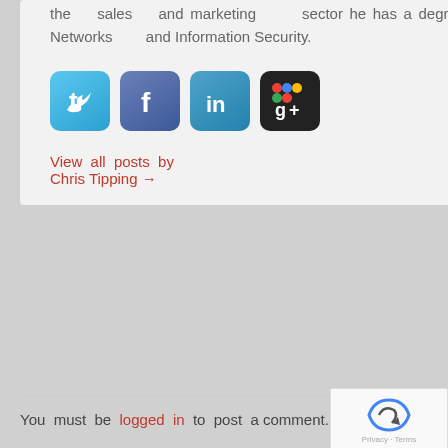the sales and marketing sector he has a degree in Computer Science, Networks and Information Security.
[Figure (illustration): Social media icons: Twitter (blue bird), Facebook (blue f), LinkedIn (blue in), Google+ (black g+)]
View all posts by Chris Tipping →
You must be logged in to post a comment.